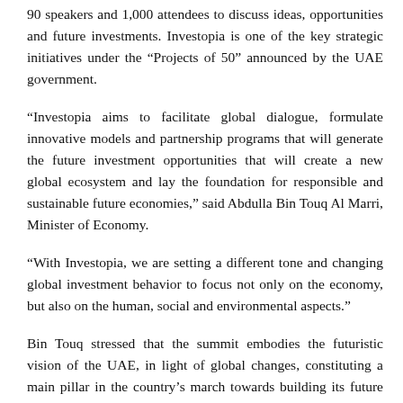90 speakers and 1,000 attendees to discuss ideas, opportunities and future investments. Investopia is one of the key strategic initiatives under the “Projects of 50” announced by the UAE government.
“Investopia aims to facilitate global dialogue, formulate innovative models and partnership programs that will generate the future investment opportunities that will create a new global ecosystem and lay the foundation for responsible and sustainable future economies,” said Abdulla Bin Touq Al Marri, Minister of Economy.
“With Investopia, we are setting a different tone and changing global investment behavior to focus not only on the economy, but also on the human, social and environmental aspects.”
Bin Touq stressed that the summit embodies the futuristic vision of the UAE, in light of global changes, constituting a main pillar in the country’s march towards building its future economy based on the use of the latest technologies in all key sectors. .
The Investopia Summit aims to strengthen international partnerships and advance the economy and investment sectors. The summit brings together